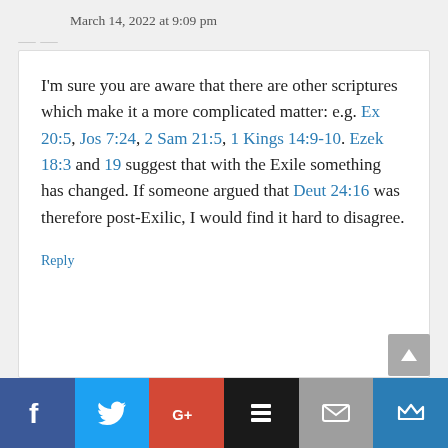March 14, 2022 at 9:09 pm
I'm sure you are aware that there are other scriptures which make it a more complicated matter: e.g. Ex 20:5, Jos 7:24, 2 Sam 21:5, 1 Kings 14:9-10. Ezek 18:3 and 19 suggest that with the Exile something has changed. If someone argued that Deut 24:16 was therefore post-Exilic, I would find it hard to disagree.
Reply